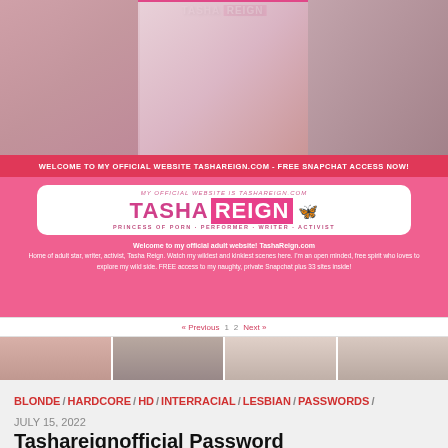[Figure (screenshot): Banner for TashaReign.com website showing blonde woman in multiple photos with pink branding]
WELCOME TO MY OFFICIAL WEBSITE TASHAREIGN.COM - FREE SNAPCHAT ACCESS NOW!
[Figure (screenshot): Pink section with Tasha Reign logo box and description text]
« Previous 1 2 Next »
[Figure (photo): Row of thumbnail images showing blonde woman]
BLONDE / HARDCORE / HD / INTERRACIAL / LESBIAN / PASSWORDS / PORNSTAR / TIT
JULY 15, 2022
Tashareignofficial Password
This busty blonde has been taking the world by tornado over the